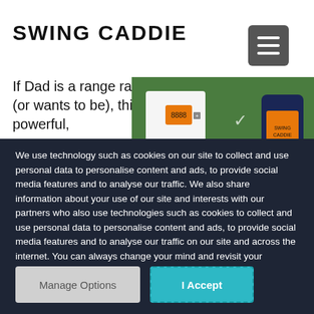SWING CADDIE
[Figure (photo): Hamburger/menu icon button in dark grey with three white horizontal lines]
If Dad is a range rat (or wants to be), this powerful,
[Figure (photo): Product photo showing Swing Caddie launch monitor device and packaging on a green background]
We use technology such as cookies on our site to collect and use personal data to personalise content and ads, to provide social media features and to analyse our traffic. We also share information about your use of our site and interests with our partners who also use technologies such as cookies to collect and use personal data to personalise content and ads, to provide social media features and to analyse our traffic on our site and across the internet. You can always change your mind and revisit your choices.
Manage Options
I Accept